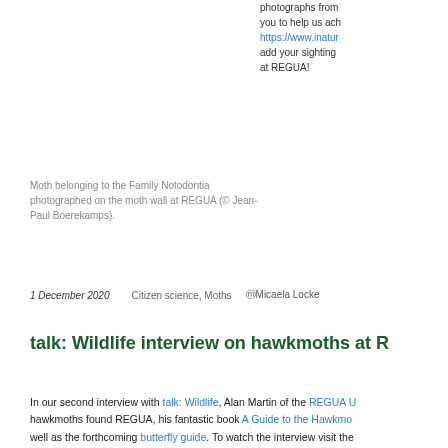photographs from you to help us ach https://www.inatur add your sighting at REGUA!
Moth belonging to the Family Notodontia photographed on the moth wall at REGUA (© Jean-Paul Boerekamps).
1 December 2020    Citizen science, Moths    ⓜMicaela Locke
talk: Wildlife interview on hawkmoths at R
In our second interview with talk: Wildlife, Alan Martin of the REGUA U hawkmoths found REGUA, his fantastic book A Guide to the Hawkmo well as the forthcoming butterfly guide. To watch the interview visit the